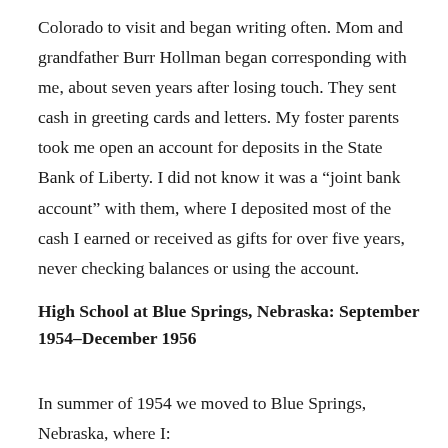Colorado to visit and began writing often. Mom and grandfather Burr Hollman began corresponding with me, about seven years after losing touch. They sent cash in greeting cards and letters. My foster parents took me open an account for deposits in the State Bank of Liberty. I did not know it was a “joint bank account” with them, where I deposited most of the cash I earned or received as gifts for over five years, never checking balances or using the account.
High School at Blue Springs, Nebraska: September 1954–December 1956
In summer of 1954 we moved to Blue Springs, Nebraska, where I: